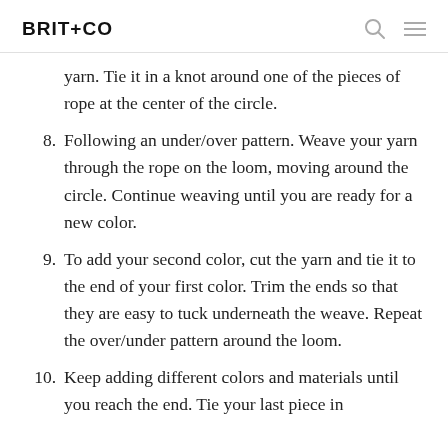BRIT+CO
yarn. Tie it in a knot around one of the pieces of rope at the center of the circle.
8. Following an under/over pattern. Weave your yarn through the rope on the loom, moving around the circle. Continue weaving until you are ready for a new color.
9. To add your second color, cut the yarn and tie it to the end of your first color. Trim the ends so that they are easy to tuck underneath the weave. Repeat the over/under pattern around the loom.
10. Keep adding different colors and materials until you reach the end. Tie your last piece in